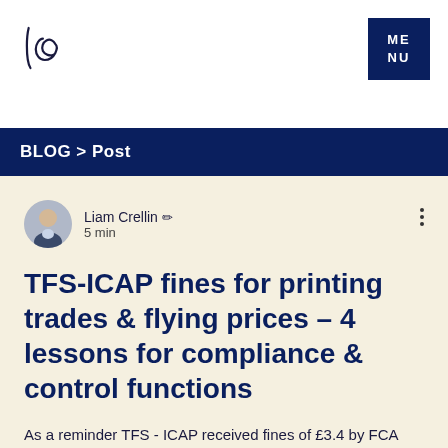[Figure (logo): Liam Crellin logo - cursive 'lc' letters in dark ink on white background]
ME NU
BLOG > Post
[Figure (photo): Circular avatar photo of Liam Crellin, a middle-aged man in a suit jacket]
Liam Crellin ✏ 5 min
TFS-ICAP fines for printing trades & flying prices – 4 lessons for compliance & control functions
As a reminder TFS - ICAP received fines of £3.4 by FCA and $7 million by the CFTC. For more information on